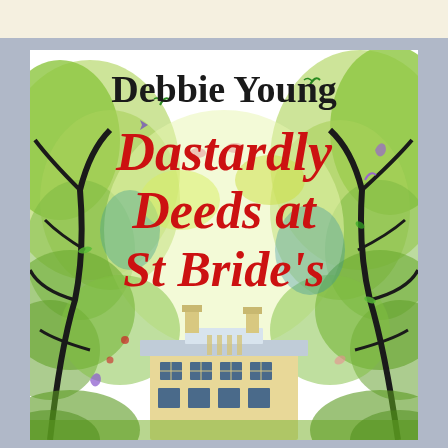[Figure (illustration): Book cover for 'Dastardly Deeds at St Bride's' by Debbie Young. Features illustrated watercolour-style artwork with green trees framing a school building (yellowish stone building with blue roof and multiple windows) at the bottom. The background shows swirling green foliage, black tree branches, and colourful leaf/petal scatter decorations in purple, red, green and pink. Author name 'Debbie Young' appears at top in large black serif font; title 'Dastardly Deeds at St Bride's' appears in large red italic script font in the centre.]